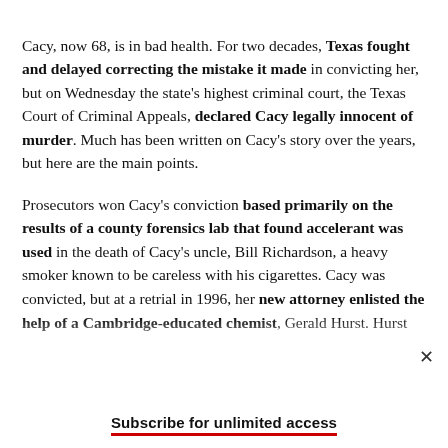Cacy, now 68, is in bad health. For two decades, Texas fought and delayed correcting the mistake it made in convicting her, but on Wednesday the state's highest criminal court, the Texas Court of Criminal Appeals, declared Cacy legally innocent of murder. Much has been written on Cacy's story over the years, but here are the main points.
Prosecutors won Cacy's conviction based primarily on the results of a county forensics lab that found accelerant was used in the death of Cacy's uncle, Bill Richardson, a heavy smoker known to be careless with his cigarettes. Cacy was convicted, but at a retrial in 1996, her new attorney enlisted the help of a Cambridge-educated chemist, Gerald Hurst. Hurst retested burn samples from the bedroom—where Richardson had died—and found the accelerant the state said was present could have come from compounds in
Subscribe for unlimited access